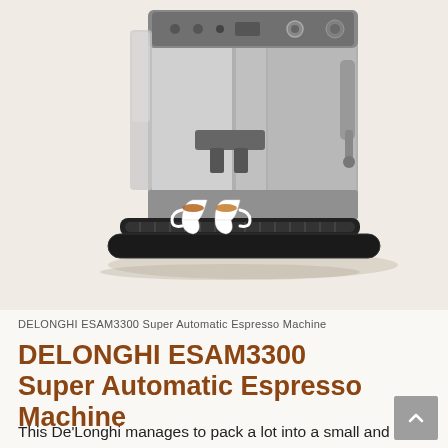[Figure (photo): Silver and black DeLonghi ESAM3300 Super Automatic Espresso Machine with two white espresso cups filled with coffee sitting on the drip tray]
DELONGHI ESAM3300 Super Automatic Espresso Machine
DELONGHI ESAM3300 Super Automatic Espresso Machine
This De'Longhi manages to pack a lot into a small and very affordable model. Its high pressure ensures a great taste